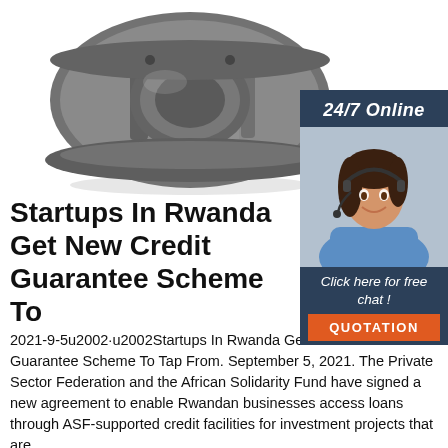[Figure (photo): Industrial metal bearing/coupling mechanical component, gray metallic, shown on white background]
[Figure (illustration): 24/7 Online customer service sidebar with photo of woman with headset and orange QUOTATION button]
Startups In Rwanda Get New Credit Guarantee Scheme To
2021-9-5u2002·u2002Startups In Rwanda Get New Credit Guarantee Scheme To Tap From. September 5, 2021. The Private Sector Federation and the African Solidarity Fund have signed a new agreement to enable Rwandan businesses access loans through ASF-supported credit facilities for investment projects that are